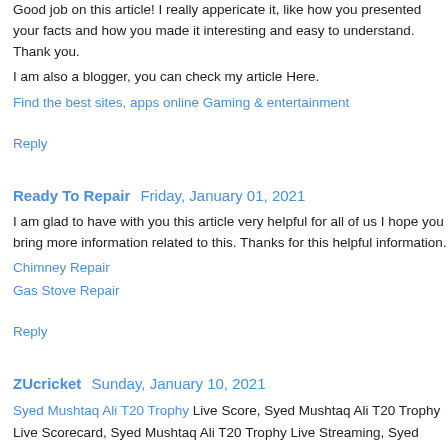Good job on this article! I really appericate it, like how you presented your facts and how you made it interesting and easy to understand. Thank you.
I am also a blogger, you can check my article Here.
Find the best sites, apps online Gaming & entertainment
Reply
Ready To Repair  Friday, January 01, 2021
I am glad to have with you this article very helpful for all of us I hope you bring more information related to this. Thanks for this helpful information.
Chimney Repair
Gas Stove Repair
Reply
ZUcricket  Sunday, January 10, 2021
Syed Mushtaq Ali T20 Trophy Live Score, Syed Mushtaq Ali T20 Trophy Live Scorecard, Syed Mushtaq Ali T20 Trophy Live Streaming, Syed Mushtaq Ali T20 Trophy Match